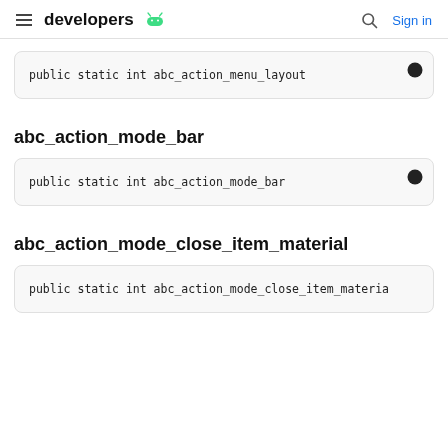developers
public static int abc_action_menu_layout
abc_action_mode_bar
public static int abc_action_mode_bar
abc_action_mode_close_item_material
public static int abc_action_mode_close_item_materia